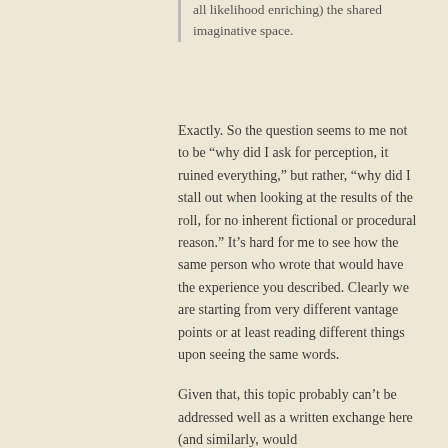all likelihood enriching) the shared imaginative space.
Exactly. So the question seems to me not to be “why did I ask for perception, it ruined everything,” but rather, “why did I stall out when looking at the results of the roll, for no inherent fictional or procedural reason.” It’s hard for me to see how the same person who wrote that would have the experience you described. Clearly we are starting from very different vantage points or at least reading different things upon seeing the same words.
Given that, this topic probably can’t be addressed well as a written exchange here (and similarly, would